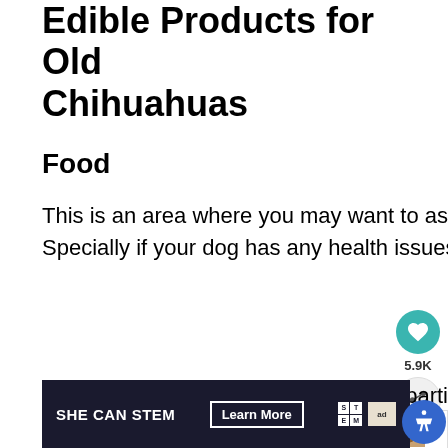Edible Products for Old Chihuahuas
Food
This is an area where you may want to ask your vet what is best to feed your dog. Specially if your dog has any health issues.
If your dog is already doing well on a particular brand, check and see if they have a senior food too.
[Figure (screenshot): Social sharing widget with heart icon showing 5.9K likes and a share button]
[Figure (infographic): What's Next widget showing Separation Anxiety article with dog image]
[Figure (screenshot): Advertisement banner: SHE CAN STEM with Learn More button and STEM logo]